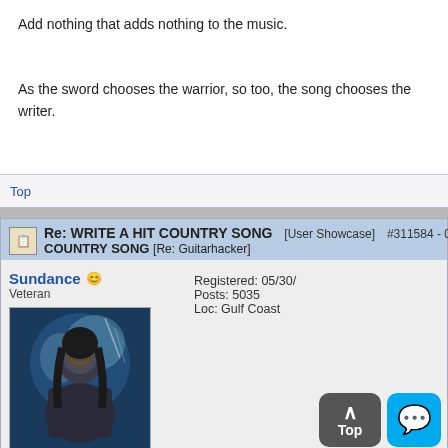Add nothing that adds nothing to the music.
As the sword chooses the warrior, so too, the song chooses the writer.
Top
Re: WRITE A HIT COUNTRY SONG [Re: Guitarhacker] [User Showcase] #311584 - 09/24/15 05:59 PM
Sundance
Veteran
Registered: 05/30/
Posts: 5035
Loc: Gulf Coast